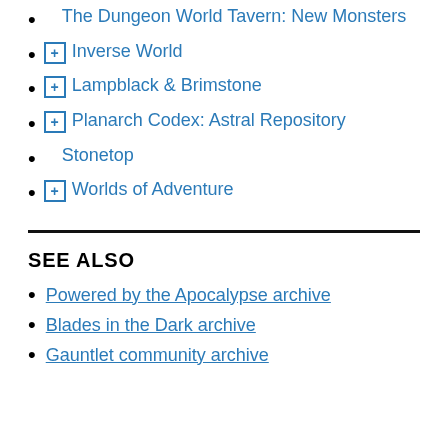The Dungeon World Tavern: New Monsters
⊞ Inverse World
⊞ Lampblack & Brimstone
⊞ Planarch Codex: Astral Repository
Stonetop
⊞ Worlds of Adventure
SEE ALSO
Powered by the Apocalypse archive
Blades in the Dark archive
Gauntlet community archive